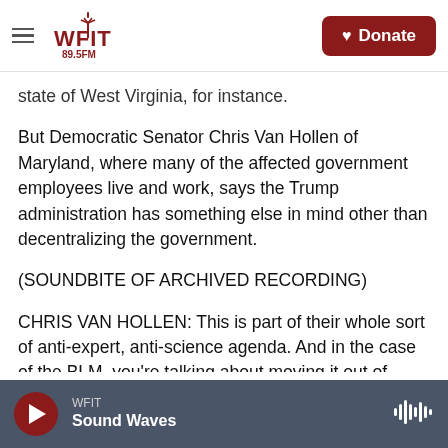WFIT 89.5FM | Donate
state of West Virginia, for instance.
But Democratic Senator Chris Van Hollen of Maryland, where many of the affected government employees live and work, says the Trump administration has something else in mind other than decentralizing the government.
(SOUNDBITE OF ARCHIVED RECORDING)
CHRIS VAN HOLLEN: This is part of their whole sort of anti-expert, anti-science agenda. And in the case of the BLM, you're talking about moving it out of
WFIT | Sound Waves